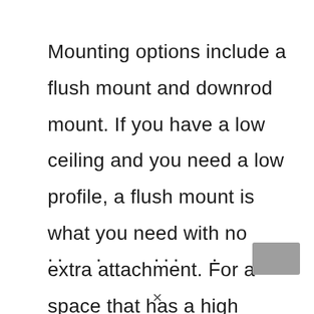Mounting options include a flush mount and downrod mount. If you have a low ceiling and you need a low profile, a flush mount is what you need with no extra attachment. For a space that has a high ceiling, a downrod mount is the best.
.. . ... .